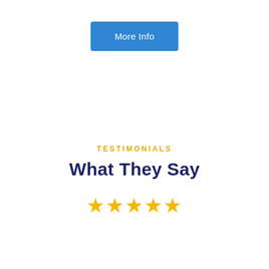More Info
TESTIMONIALS
What They Say
[Figure (illustration): Five gold star rating icons in a row]